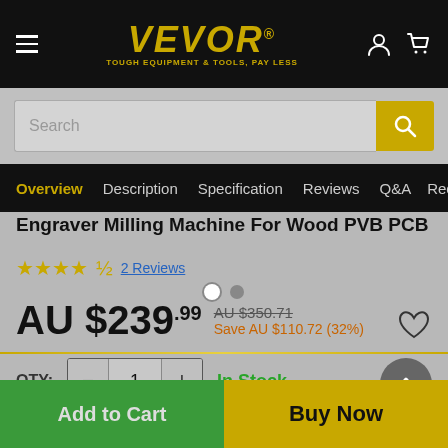VEVOR® — TOUGH EQUIPMENT & TOOLS, PAY LESS
Search
Overview  Description  Specification  Reviews  Q&A  Reco...
Engraver Milling Machine For Wood PVB PCB
★★★★½  2 Reviews
AU $239.99  AU $350.71  Save AU $110.72 (32%)
QTY: − 1 +  In Stock
Add to Cart  Buy Now